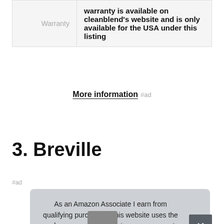|  |  |
| --- | --- |
| Warranty | warranty is available on cleanblend's website and is only available for the USA under this listing |
More information #ad
3. Breville
#ad
As an Amazon Associate I earn from qualifying purchases. This website uses the only necessary cookies to ensure you get the best experience on our website. More information